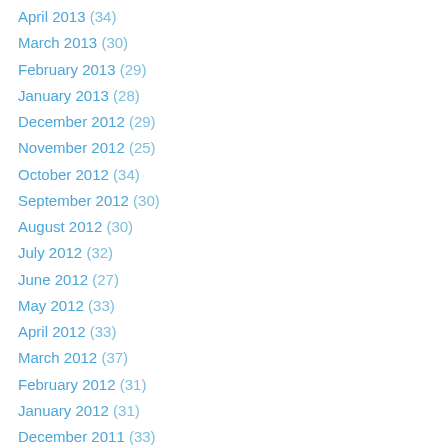April 2013 (34)
March 2013 (30)
February 2013 (29)
January 2013 (28)
December 2012 (29)
November 2012 (25)
October 2012 (34)
September 2012 (30)
August 2012 (30)
July 2012 (32)
June 2012 (27)
May 2012 (33)
April 2012 (33)
March 2012 (37)
February 2012 (31)
January 2012 (31)
December 2011 (33)
November 2011 (41)
October 2011 (40)
September 2011 (22)